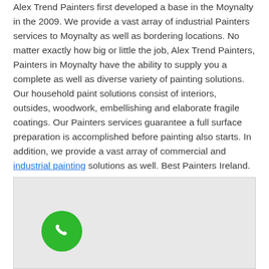Alex Trend Painters first developed a base in the Moynalty in the 2009. We provide a vast array of industrial Painters services to Moynalty as well as bordering locations. No matter exactly how big or little the job, Alex Trend Painters, Painters in Moynalty have the ability to supply you a complete as well as diverse variety of painting solutions. Our household paint solutions consist of interiors, outsides, woodwork, embellishing and elaborate fragile coatings. Our Painters services guarantee a full surface preparation is accomplished before painting also starts. In addition, we provide a vast array of commercial and industrial painting solutions as well. Best Painters Ireland.
[Figure (map): Embedded map area with a green phone call button in the lower left corner]